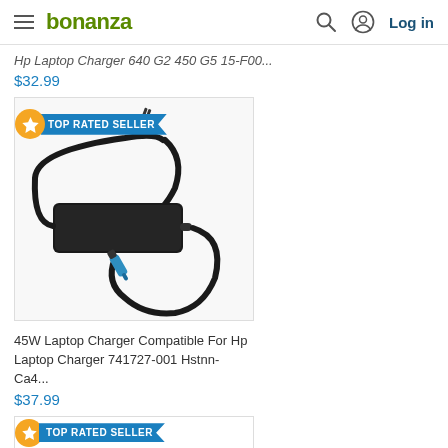bonanza — Log in
Hp Laptop Charger 640 G2 450 G5 15-F00...
$32.99
[Figure (photo): HP laptop charger/power adapter with black cable, plug, and blue tip connector against white background. TOP RATED SELLER badge visible.]
45W Laptop Charger Compatible For Hp Laptop Charger 741727-001 Hstnn-Ca4...
$37.99
[Figure (photo): Bottom of page showing TOP RATED SELLER badge for another product listing.]